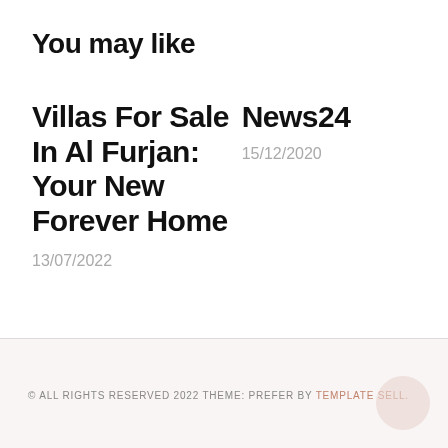You may like
Villas For Sale In Al Furjan: Your New Forever Home
13/07/2022
News24
15/12/2020
© ALL RIGHTS RESERVED 2022 THEME: PREFER BY TEMPLATE SELL.